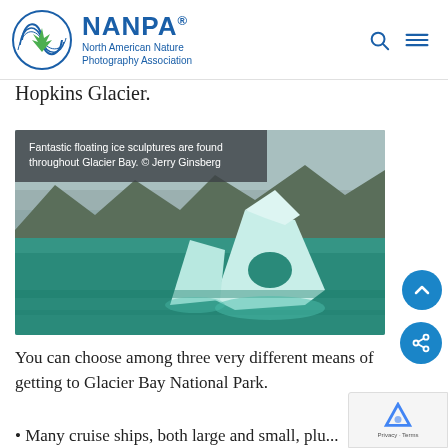NANPA North American Nature Photography Association
Hopkins Glacier.
[Figure (photo): Floating ice sculptures in Glacier Bay with mountains in background, turquoise water. Photo by Jerry Ginsberg.]
Fantastic floating ice sculptures are found throughout Glacier Bay. © Jerry Ginsberg
You can choose among three very different means of getting to Glacier Bay National Park.
• Many cruise ships, both large and small, plu...